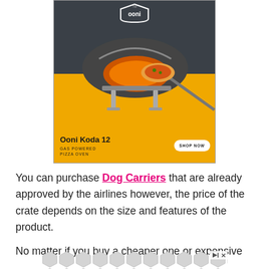[Figure (illustration): Ooni Koda 12 advertisement. Dark top section with Ooni logo. Yellow bottom section showing a gas-powered pizza oven with a pizza on a peel. Text reads 'Ooni Koda 12' and 'GAS POWERED PIZZA OVEN' with a 'SHOP NOW' button.]
You can purchase Dog Carriers that are already approved by the airlines however, the price of the crate depends on the size and features of the product.
No matter if you buy a cheaper one or expensive one
[Figure (illustration): Gray hexagonal pattern advertisement banner with play and close icons.]